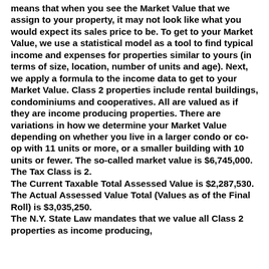means that when you see the Market Value that we assign to your property, it may not look like what you would expect its sales price to be. To get to your Market Value, we use a statistical model as a tool to find typical income and expenses for properties similar to yours (in terms of size, location, number of units and age). Next, we apply a formula to the income data to get to your Market Value. Class 2 properties include rental buildings, condominiums and cooperatives. All are valued as if they are income producing properties. There are variations in how we determine your Market Value depending on whether you live in a larger condo or co-op with 11 units or more, or a smaller building with 10 units or fewer. The so-called market value is $6,745,000. The Tax Class is 2. The Current Taxable Total Assessed Value is $2,287,530. The Actual Assessed Value Total (Values as of the Final Roll) is $3,035,250. The N.Y. State Law mandates that we value all Class 2 properties as income producing,